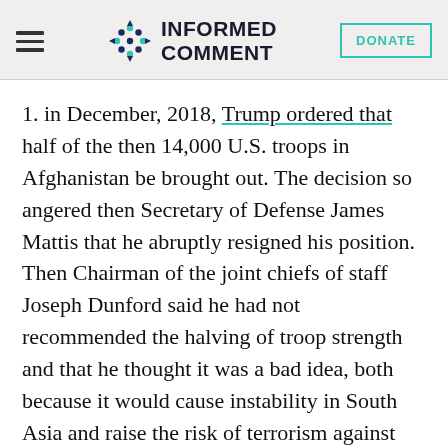INFORMED COMMENT | DONATE
1. in December, 2018, Trump ordered that half of the then 14,000 U.S. troops in Afghanistan be brought out. The decision so angered then Secretary of Defense James Mattis that he abruptly resigned his position. Then Chairman of the joint chiefs of staff Joseph Dunford said he had not recommended the halving of troop strength and that he thought it was a bad idea, both because it would cause instability in South Asia and raise the risk of terrorism against the U.S.